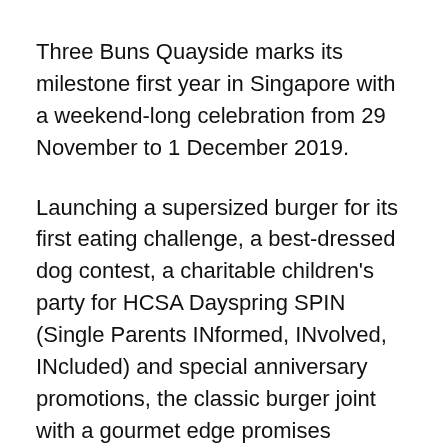Three Buns Quayside marks its milestone first year in Singapore with a weekend-long celebration from 29 November to 1 December 2019.
Launching a supersized burger for its first eating challenge, a best-dressed dog contest, a charitable children's party for HCSA Dayspring SPIN (Single Parents INformed, INvolved, INcluded) and special anniversary promotions, the classic burger joint with a gourmet edge promises enjoyment for all.
Here's everything you can find at Three Buns Quayside all weekend long!